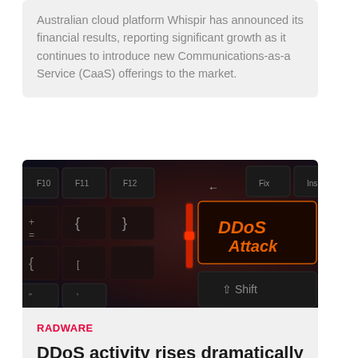Australian cloud platform Whispir has announced its financial results, reporting significant growth as it continues to introduce new Communications-as-a Service (CaaS) offerings to the market.
[Figure (photo): Close-up photo of a dark mechanical keyboard with glowing red keys, featuring a prominent key labeled 'DDoS Attack' in orange text]
RADWARE
DDoS activity rises dramatically - Radware report